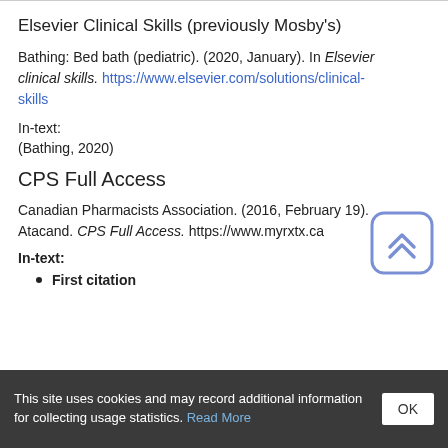Elsevier Clinical Skills (previously Mosby's)
Bathing: Bed bath (pediatric). (2020, January). In Elsevier clinical skills. https://www.elsevier.com/solutions/clinical-skills
In-text:
(Bathing, 2020)
CPS Full Access
Canadian Pharmacists Association. (2016, February 19). Atacand. CPS Full Access. https://www.myrxtx.ca
In-text:
First citation